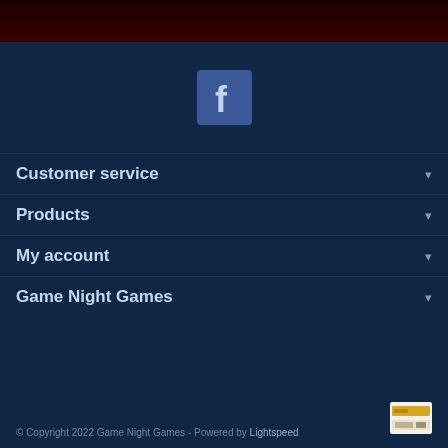[Figure (logo): Facebook icon - blue square with white lowercase f]
Customer service
Products
My account
Game Night Games
© Copyright 2022 Game Night Games - Powered by Lightspeed